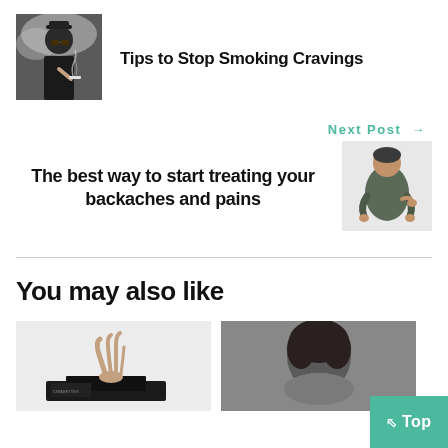[Figure (photo): Woman with sunglasses holding a cigarette or vape device, smoky background]
Tips to Stop Smoking Cravings
Next Post →
The best way to start treating your backaches and pains
[Figure (photo): Woman holding her back in pain]
You may also like
[Figure (photo): Hands near cigarettes on a dark surface]
[Figure (photo): Person with dark hair, blurred background]